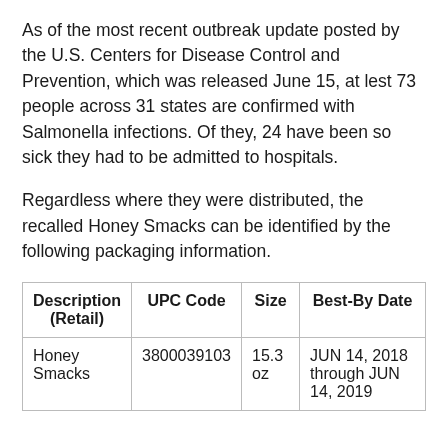As of the most recent outbreak update posted by the U.S. Centers for Disease Control and Prevention, which was released June 15, at lest 73 people across 31 states are confirmed with Salmonella infections. Of they, 24 have been so sick they had to be admitted to hospitals.
Regardless where they were distributed, the recalled Honey Smacks can be identified by the following packaging information.
| Description (Retail) | UPC Code | Size | Best-By Date |
| --- | --- | --- | --- |
| Honey Smacks | 3800039103 | 15.3 oz | JUN 14, 2018 through JUN 14, 2019 |